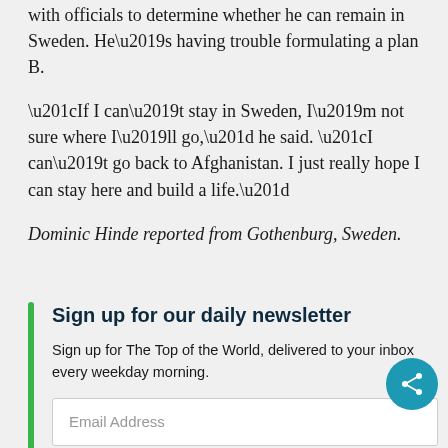with officials to determine whether he can remain in Sweden. He’s having trouble formulating a plan B.
“If I can’t stay in Sweden, I’m not sure where I’ll go,” he said. “I can’t go back to Afghanistan. I just really hope I can stay here and build a life.”
Dominic Hinde reported from Gothenburg, Sweden.
Sign up for our daily newsletter
Sign up for The Top of the World, delivered to your inbox every weekday morning.
Email Address
Subscribe